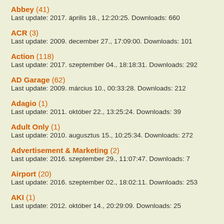Abbey (41)
Last update: 2017. április 18., 12:20:25. Downloads: 660
ACR (3)
Last update: 2009. december 27., 17:09:00. Downloads: 101
Action (118)
Last update: 2017. szeptember 04., 18:18:31. Downloads: 292
AD Garage (62)
Last update: 2009. március 10., 00:33:28. Downloads: 212
Adagio (1)
Last update: 2011. október 22., 13:25:24. Downloads: 39
Adult Only (1)
Last update: 2010. augusztus 15., 10:25:34. Downloads: 272
Advertisement & Marketing (2)
Last update: 2016. szeptember 29., 11:07:47. Downloads: 7
Airport (20)
Last update: 2016. szeptember 02., 18:02:11. Downloads: 253
AKI (1)
Last update: 2012. október 14., 20:29:09. Downloads: 25